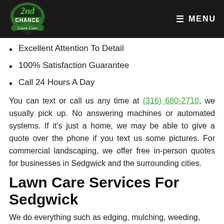[Figure (logo): 2nd Chance Lawn Care logo — green circular badge with stylized text]
≡ MENU
Excellent Attention To Detail
100% Satisfaction Guarantee
Call 24 Hours A Day
You can text or call us any time at (316) 680-2710, we usually pick up. No answering machines or automated systems. If it's just a home, we may be able to give a quote over the phone if you text us some pictures. For commercial landscaping, we offer free in-person quotes for businesses in Sedgwick and the surrounding cities.
Lawn Care Services For Sedgwick
We do everything such as edging, mulching, weeding, sharp